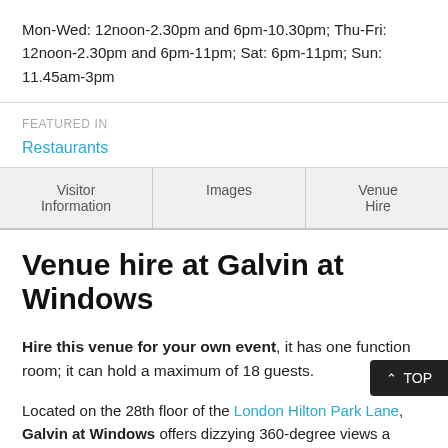Mon-Wed: 12noon-2.30pm and 6pm-10.30pm; Thu-Fri: 12noon-2.30pm and 6pm-11pm; Sat: 6pm-11pm; Sun: 11.45am-3pm
FEATURED IN
Restaurants
| Visitor Information | Images | Venue Hire |
| --- | --- | --- |
Venue hire at Galvin at Windows
Hire this venue for your own event, it has one function room; it can hold a maximum of 18 guests.
Located on the 28th floor of the London Hilton Park Lane, Galvin at Windows offers dizzying 360-degree views a… London and high-end cuisine, making it one the best restaurants in the capital - if you can get a seat near the window, that is.